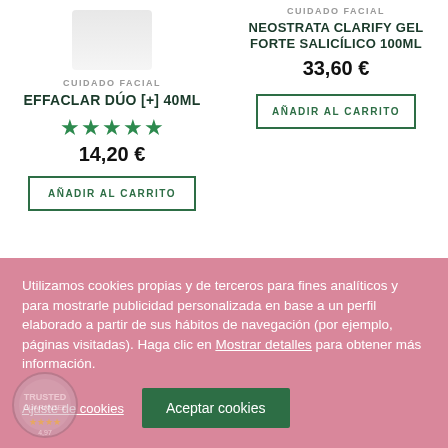CUIDADO FACIAL
EFFACLAR DÚO [+] 40ML
★★★★★
14,20 €
AÑADIR AL CARRITO
CUIDADO FACIAL
NEOSTRATA CLARIFY GEL FORTE SALICÍLICO 100ML
33,60 €
AÑADIR AL CARRITO
Utilizamos cookies propias y de terceros para fines analíticos y para mostrarle publicidad personalizada en base a un perfil elaborado a partir de sus hábitos de navegación (por ejemplo, páginas visitadas). Haga clic en Mostrar detalles para obtener más información.
Ajuste de cookies
Aceptar cookies